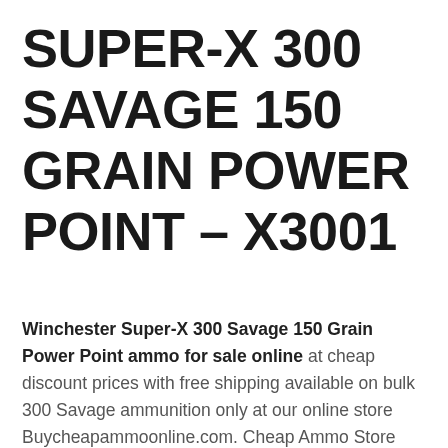SUPER-X 300 SAVAGE 150 GRAIN POWER POINT – X3001
Winchester Super-X 300 Savage 150 Grain Power Point ammo for sale online at cheap discount prices with free shipping available on bulk 300 Savage ammunition only at our online store Buycheapammoonline.com. Cheap Ammo Store carries the entire line of Winchester Super-X ammunition for sale online with free shipping on